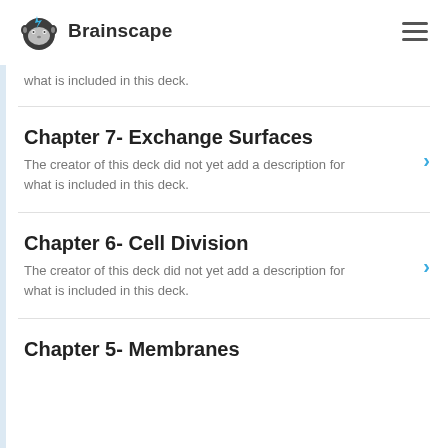Brainscape
what is included in this deck.
Chapter 7- Exchange Surfaces
The creator of this deck did not yet add a description for what is included in this deck.
Chapter 6- Cell Division
The creator of this deck did not yet add a description for what is included in this deck.
Chapter 5- Membranes